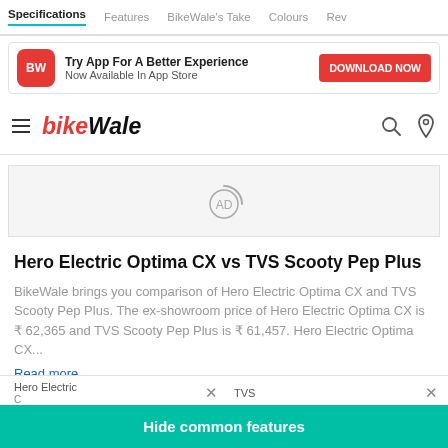Specifications | Features | BikeWale's Take | Colours | Reviews
[Figure (screenshot): App download promotional banner with BikeWale BW red icon, text 'Try App For A Better Experience / Now Available In App Store' and a red 'DOWNLOAD NOW' button]
[Figure (logo): BikeWale logo with hamburger menu icon, search icon and location pin icon]
[Figure (other): AD placeholder grey box with circular AD icon]
Hero Electric Optima CX vs TVS Scooty Pep Plus
BikeWale brings you comparison of Hero Electric Optima CX and TVS Scooty Pep Plus. The ex-showroom price of Hero Electric Optima CX is ₹ 62,365 and TVS Scooty Pep Plus is ₹ 61,457. Hero Electric Optima CX...
Read more
Hide common features